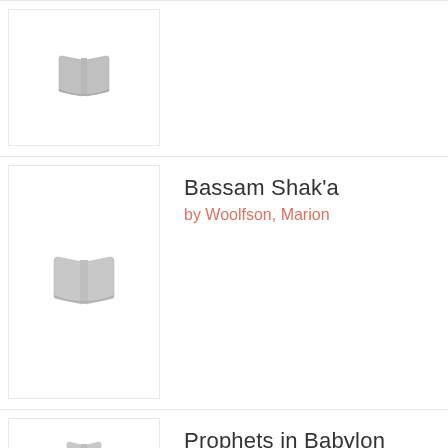[Figure (illustration): Book cover placeholder with open book icon (gray), partial entry at top of page]
[Figure (illustration): Book cover placeholder with open book icon (gray) for Bassam Shak'a]
Bassam Shak'a
by Woolfson, Marion
[Figure (illustration): Book cover placeholder with open book icon (gray) for Prophets in Babylon, partial at bottom]
Prophets in Babylon
by Woolfson, Marion